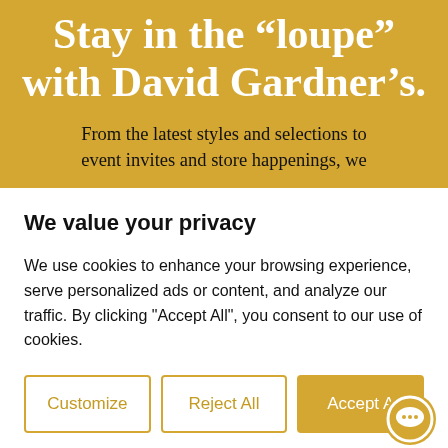Stay in the “loupe” with David Gardner’s.
From the latest styles and selections to event invites and store happenings, we
We value your privacy
We use cookies to enhance your browsing experience, serve personalized ads or content, and analyze our traffic. By clicking "Accept All", you consent to our use of cookies.
Customize | Reject All | Accept All